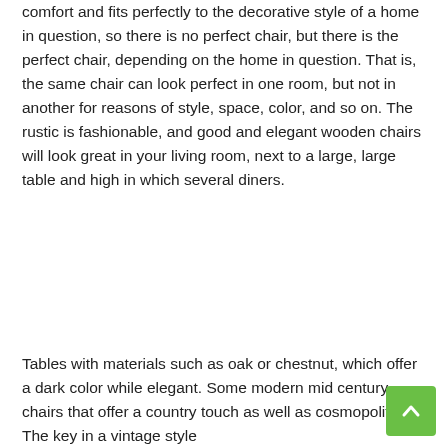comfort and fits perfectly to the decorative style of a home in question, so there is no perfect chair, but there is the perfect chair, depending on the home in question. That is, the same chair can look perfect in one room, but not in another for reasons of style, space, color, and so on. The rustic is fashionable, and good and elegant wooden chairs will look great in your living room, next to a large, large table and high in which several diners.
Tables with materials such as oak or chestnut, which offer a dark color while elegant. Some modern mid century chairs that offer a country touch as well as cosmopolitan. The key in a vintage style